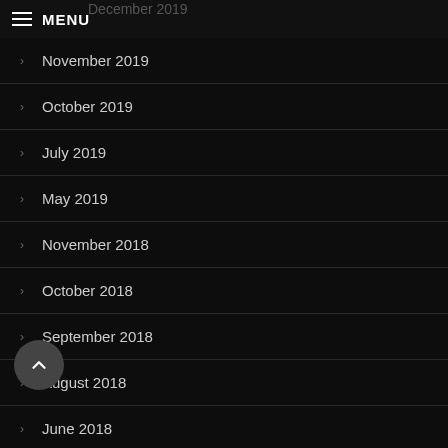MENU
December 2019
November 2019
October 2019
July 2019
May 2019
November 2018
October 2018
September 2018
August 2018
June 2018
May 2018